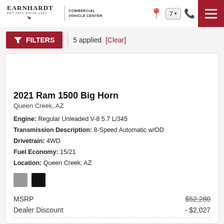Earnhardt Commercial Vehicle Center
FILTERS | 5 applied [Clear]
2021 Ram 1500 Big Horn
Queen Creek, AZ
Engine: Regular Unleaded V-8 5.7 L/345
Transmission Description: 8-Speed Automatic w/OD
Drivetrain: 4WD
Fuel Economy: 15/21
Location: Queen Creek, AZ
MSRP  $52,280
Dealer Discount  - $2,027